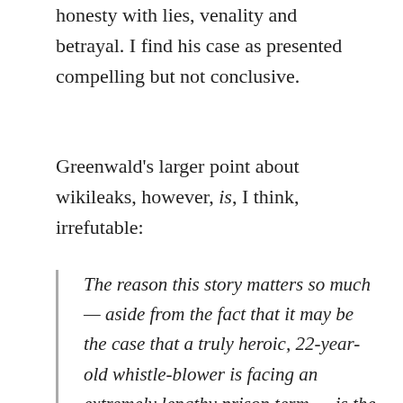honesty with lies, venality and betrayal. I find his case as presented compelling but not conclusive.
Greenwald's larger point about wikileaks, however, is, I think, irrefutable:
The reason this story matters so much — aside from the fact that it may be the case that a truly heroic, 22-year-old whistle-blower is facing an extremely lengthy prison term — is the unique and